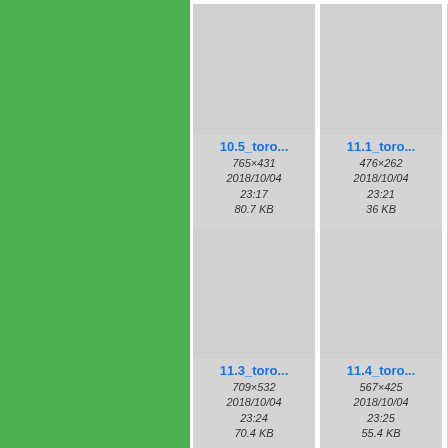[Figure (screenshot): File browser thumbnail grid showing image files with names, dimensions, dates, and sizes. Green panel on left. Cards showing: 10.5_toro... (765×431, 2018/10/04 23:17, 80.7 KB), 11.1_toro... (476×262, 2018/10/04 23:21, 36 KB), 11 (partially visible), 11.3_toro... (709×532, 2018/10/04 23:24, 70.4 KB), 11.4_toro... (567×425, 2018/10/04 23:25, 55.4 KB), 11 (partially visible)]